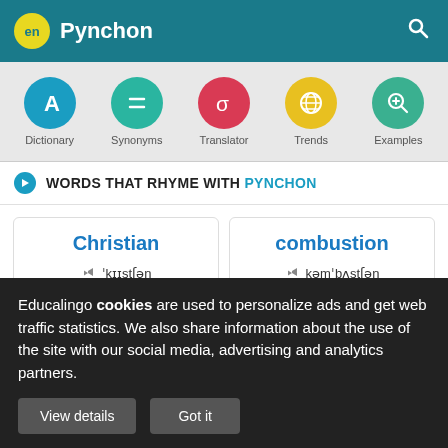en Pynchon
[Figure (screenshot): Navigation bar with 5 circular icons: Dictionary (blue, letter A), Synonyms (teal, equals sign), Translator (red, sigma), Trends (yellow, globe), Examples (green, magnifier)]
WORDS THAT RHYME WITH PYNCHON
Christian  'krɪstʃən
combustion  kəm'bʌstʃən
Educalingo cookies are used to personalize ads and get web traffic statistics. We also share information about the use of the site with our social media, advertising and analytics partners.
View details  Got it